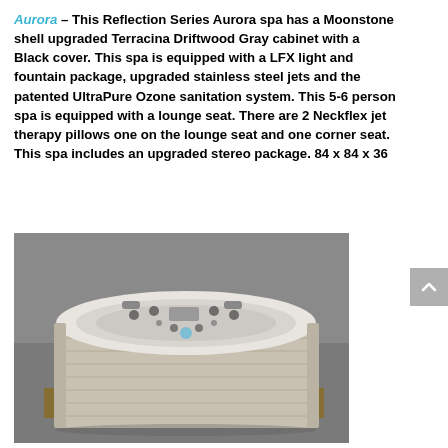Aurora – This Reflection Series Aurora spa has a Moonstone shell upgraded Terracina Driftwood Gray cabinet with a Black cover.  This spa is equipped with a LFX light and fountain package, upgraded stainless steel jets and the patented UltraPure Ozone sanitation system.  This 5-6 person spa is equipped with a lounge seat.  There are 2 Neckflex jet therapy pillows one on the lounge seat and one corner seat.  This spa includes an upgraded stereo package.   84 x 84 x 36
[Figure (photo): Photograph of an Aurora Reflection Series hot tub/spa with a Moonstone shell and Terracina Driftwood Gray cabinet, viewed from a slightly elevated angle in a warehouse or showroom setting.]